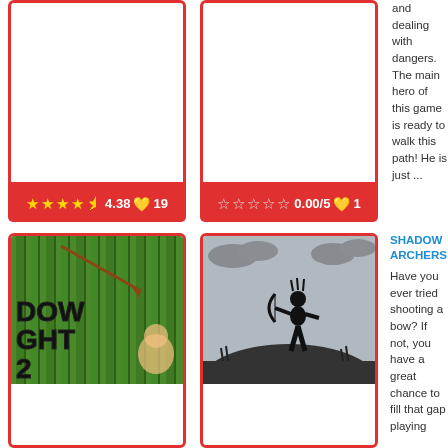[Figure (other): Game card top-left with red border, empty white interior, rating bar showing 4.38 stars with 19 votes]
[Figure (other): Game card top-middle with red border, empty white interior, rating bar showing 0.00/5 stars with 1 vote]
and dealing with dangers. The main hero of this game is ready to walk this path! He is just ...
[Figure (screenshot): Shadow Fight 2 game card bottom-left showing green bamboo forest background with game title text and cartoon characters, red border]
[Figure (screenshot): Shadow Archers game card bottom-middle showing silhouette of archer on hill against grey cloudy sky]
SHADOW ARCHERS
Have you ever tried shooting a bow? If not, you have a great chance to fill that gap playing